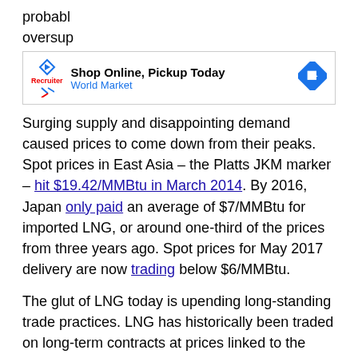probabl oversup
[Figure (other): Advertisement banner: Shop Online, Pickup Today – World Market, with navigation arrow icon]
Surging supply and disappointing demand caused prices to come down from their peaks. Spot prices in East Asia – the Platts JKM marker – hit $19.42/MMBtu in March 2014. By 2016, Japan only paid an average of $7/MMBtu for imported LNG, or around one-third of the prices from three years ago. Spot prices for May 2017 delivery are now trading below $6/MMBtu.
The glut of LNG today is upending long-standing trade practices. LNG has historically been traded on long-term contracts at prices linked to the price of crude oil. The volume of LNG traded had once been limited, so there wasn't much of a true market price for the product. Fixing cargoes to the price of crude oil became a common practice. The crash of crude oil in 2014, not coincidentally, also helped push down the prices of LNG.